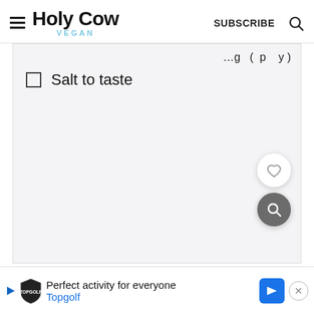Holy Cow Vegan — SUBSCRIBE
Salt to taste
[Figure (other): Floating heart (favorite) button and floating search (magnifier) button on the right side of the content area]
Perfect activity for everyone  Topgolf